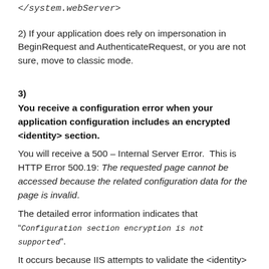</system.webServer>
2) If your application does rely on impersonation in BeginRequest and AuthenticateRequest, or you are not sure, move to classic mode.
3)  You receive a configuration error when your application configuration includes an encrypted <identity> section.
You will receive a 500 – Internal Server Error.  This is HTTP Error 500.19: The requested page cannot be accessed because the related configuration data for the page is invalid.
The detailed error information indicates that “Configuration section encryption is not supported”.
It occurs because IIS attempts to validate the <identity>